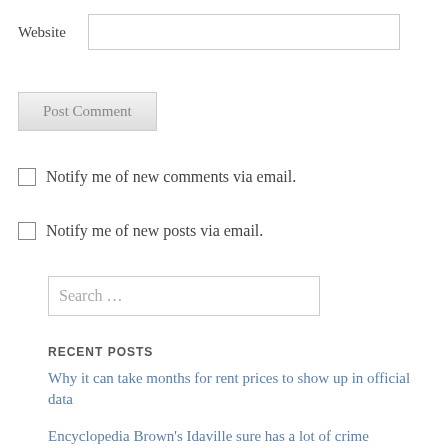Website
Post Comment
Notify me of new comments via email.
Notify me of new posts via email.
Search …
RECENT POSTS
Why it can take months for rent prices to show up in official data
Encyclopedia Brown's Idaville sure has a lot of crime